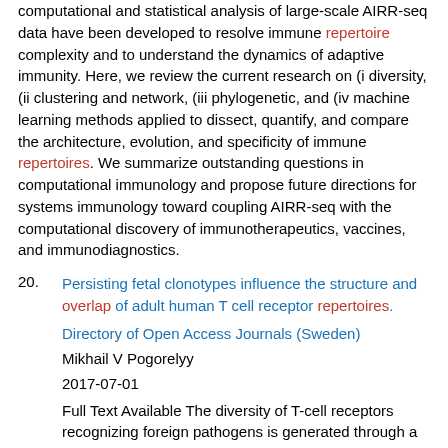computational and statistical analysis of large-scale AIRR-seq data have been developed to resolve immune repertoire complexity and to understand the dynamics of adaptive immunity. Here, we review the current research on (i diversity, (ii clustering and network, (iii phylogenetic, and (iv machine learning methods applied to dissect, quantify, and compare the architecture, evolution, and specificity of immune repertoires. We summarize outstanding questions in computational immunology and propose future directions for systems immunology toward coupling AIRR-seq with the computational discovery of immunotherapeutics, vaccines, and immunodiagnostics.
20. Persisting fetal clonotypes influence the structure and overlap of adult human T cell receptor repertoires. Directory of Open Access Journals (Sweden). Mikhail V Pogorelyy. 2017-07-01. Full Text Available The diversity of T-cell receptors recognizing foreign pathogens is generated through a highly stochastic